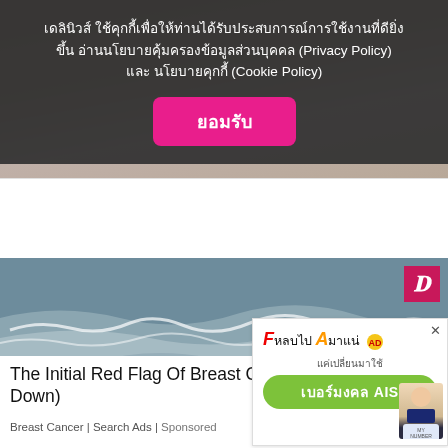[Figure (screenshot): Cookie consent overlay on website with Thai text and pink accept button]
เดลินิวส์ ใช้คุกกี้เพื่อให้ท่านได้รับประสบการณ์การใช้งานที่ดียิ่งขึ้น อ่านนโยบายคุ้มครองข้อมูลส่วนบุคคล (Privacy Policy) และ นโยบายคุกกี้ (Cookie Policy)
ยอมรับ
The Initial Red Flag Of Breast Cancer (Write This Down)
Breast Cancer | Search Ads | Sponsored
Click Here
[Figure (photo): Beach scene with waves and shoreline, D logo watermark in top right]
[Figure (infographic): AIS mobile advertisement banner - F to A number change promotion, เบอร์มงคล AIS]